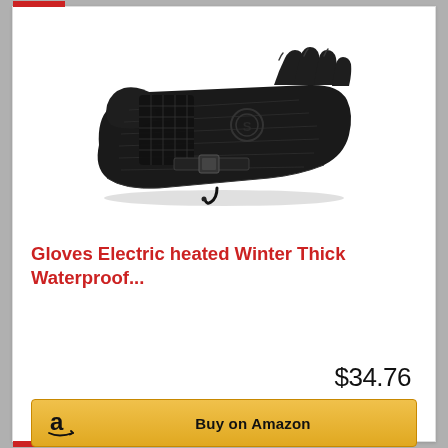[Figure (photo): Black electric heated winter glove, shown horizontally with fingers pointing right, featuring quilted/puffer texture, wrist strap with buckle, circular logo embossed on the back, and a cable/cord hanging from the wrist end.]
Gloves Electric heated Winter Thick Waterproof...
$34.76
Buy on Amazon